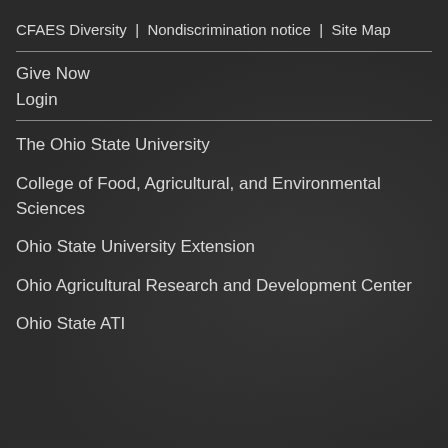CFAES Diversity | Nondiscrimination notice | Site Map
Give Now
Login
The Ohio State University
College of Food, Agricultural, and Environmental Sciences
Ohio State University Extension
Ohio Agricultural Research and Development Center
Ohio State ATI